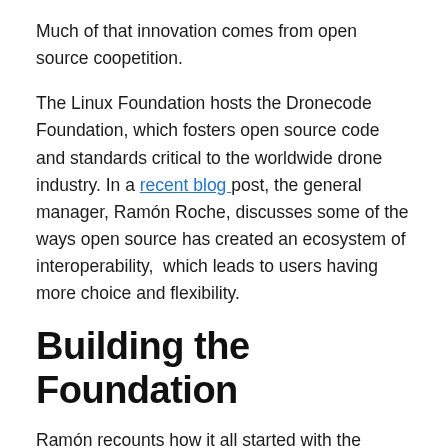Much of that innovation comes from open source coopetition.
The Linux Foundation hosts the Dronecode Foundation, which fosters open source code and standards critical to the worldwide drone industry. In a recent blog post, the general manager, Ramón Roche, discusses some of the ways open source has created an ecosystem of interoperability,  which leads to users having more choice and flexibility.
Building the Foundation
Ramón recounts how it all started with the creation of Pixhawk, open standards for drone hardware, with the goal to make drones fly autonomously using computer vision. Working to overcome the lack of computing power and technology in 2008, Lorenz Meier, then a student, set out to build the necessary flight control software and hardware.